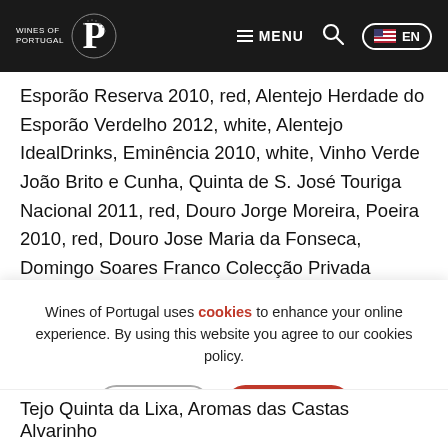Wines of Portugal — MENU EN
Esporão Reserva 2010, red, Alentejo Herdade do Esporão Verdelho 2012, white, Alentejo IdealDrinks, Eminência 2010, white, Vinho Verde João Brito e Cunha, Quinta de S. José Touriga Nacional 2011, red, Douro Jorge Moreira, Poeira 2010, red, Douro Jose Maria da Fonseca, Domingo Soares Franco Colecção Privada Moscatel Roxo 2012, P. de Setúbal Luís Pato, Vinha Pan, 2009, Bairrada Lusovini, Pedra Cancela Seleção do Énologo 2010, red, Dão
Wines of Portugal uses cookies to enhance your online experience. By using this website you agree to our cookies policy.
Tejo Quinta da Lixa, Aromas das Castas Alvarinho